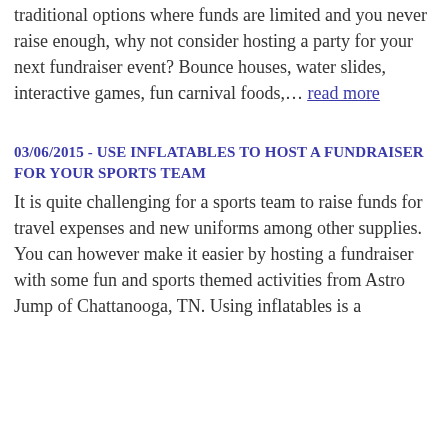traditional options where funds are limited and you never raise enough, why not consider hosting a party for your next fundraiser event? Bounce houses, water slides, interactive games, fun carnival foods,… read more
03/06/2015 - USE INFLATABLES TO HOST A FUNDRAISER FOR YOUR SPORTS TEAM
It is quite challenging for a sports team to raise funds for travel expenses and new uniforms among other supplies. You can however make it easier by hosting a fundraiser with some fun and sports themed activities from Astro Jump of Chattanooga, TN. Using inflatables is a